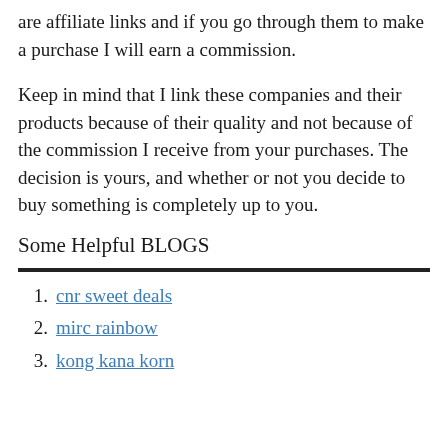are affiliate links and if you go through them to make a purchase I will earn a commission.
Keep in mind that I link these companies and their products because of their quality and not because of the commission I receive from your purchases. The decision is yours, and whether or not you decide to buy something is completely up to you.
Some Helpful BLOGS
cnr sweet deals
mirc rainbow
kong kana korn